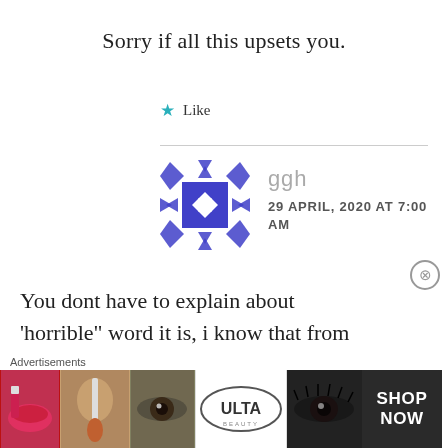Sorry if all this upsets you.
★ Like
ggh
29 APRIL, 2020 AT 7:00 AM
You dont have to explain about 'horrible" word it is, i know that from all of your comment above and reply
[Figure (screenshot): Ulta beauty advertisement banner with cosmetic images and SHOP NOW button]
Advertisements